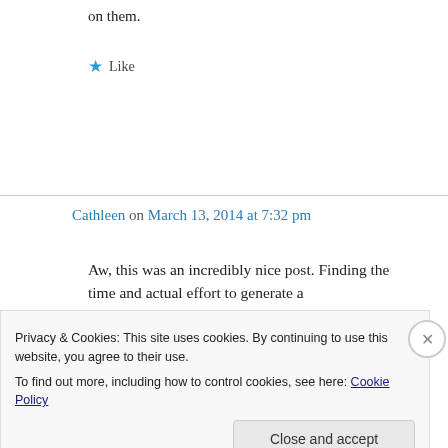on them.
★ Like
Cathleen on March 13, 2014 at 7:32 pm
Aw, this was an incredibly nice post. Finding the time and actual effort to generate a
Privacy & Cookies: This site uses cookies. By continuing to use this website, you agree to their use.
To find out more, including how to control cookies, see here: Cookie Policy
Close and accept